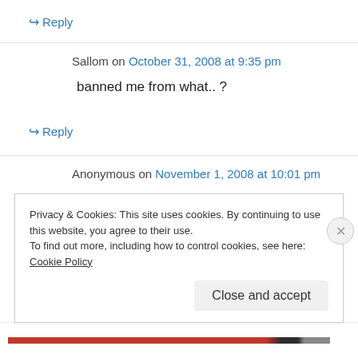↪ Reply
Sallom on October 31, 2008 at 9:35 pm
banned me from what.. ?
↪ Reply
Anonymous on November 1, 2008 at 10:01 pm
rommel_elarcosa2000@yahoo.com
Privacy & Cookies: This site uses cookies. By continuing to use this website, you agree to their use.
To find out more, including how to control cookies, see here: Cookie Policy
Close and accept